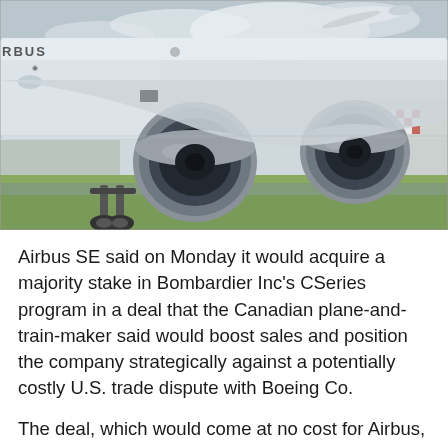[Figure (photo): Close-up photograph of an Airbus aircraft on a runway showing two large jet engines, landing gear, and the Airbus logo on the fuselage. A second aircraft is visible in the background against a sky with clouds.]
Airbus SE said on Monday it would acquire a majority stake in Bombardier Inc's CSeries program in a deal that the Canadian plane-and-train-maker said would boost sales and position the company strategically against a potentially costly U.S. trade dispute with Boeing Co.
The deal, which would come at no cost for Airbus,